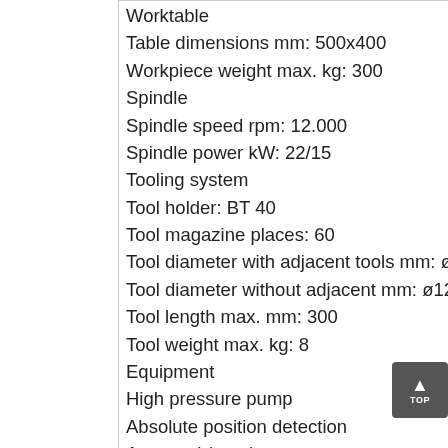Worktable
Table dimensions mm: 500x400
Workpiece weight max. kg: 300
Spindle
Spindle speed rpm: 12.000
Spindle power kW: 22/15
Tooling system
Tool holder: BT 40
Tool magazine places: 60
Tool diameter with adjacent tools mm: ø80
Tool diameter without adjacent mm: ø125
Tool length max. mm: 300
Tool weight max. kg: 8
Equipment
High pressure pump
Absolute position detection
Auto tool length measurement and tool break detection
Chip conveyor
Programming in 5 simultaneous axes
Rated capacity kVA: 44.45